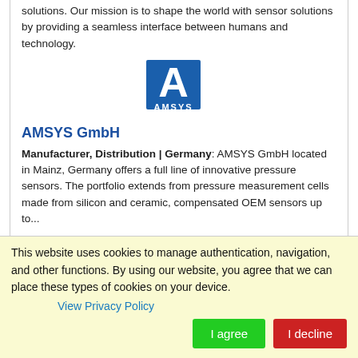solutions. Our mission is to shape the world with sensor solutions by providing a seamless interface between humans and technology.
[Figure (logo): AMSYS GmbH logo - blue square with white letter A and AMSYS text below]
AMSYS GmbH
Manufacturer, Distribution | Germany: AMSYS GmbH located in Mainz, Germany offers a full line of innovative pressure sensors. The portfolio extends from pressure measurement cells made from silicon and ceramic, compensated OEM sensors up to...
[Figure (logo): Analog Microelectronics logo - oval outline with orange text 'analog microelectronics']
Analog Microelectronics
This website uses cookies to manage authentication, navigation, and other functions. By using our website, you agree that we can place these types of cookies on your device.
View Privacy Policy